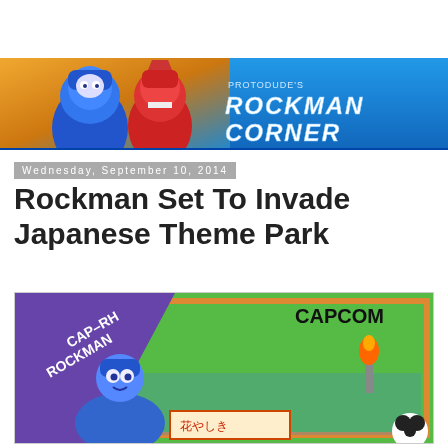[Figure (illustration): Protodude's Rockman Corner blog header banner featuring Mega Man and Proto Man characters on a blue background with the blog title text]
Wednesday, September 10, 2014
Rockman Set To Invade Japanese Theme Park
[Figure (illustration): CAP-RH Rockman / Capcom themed illustration with Mega Man and various Robot Masters characters in a colorful cartoon style on a green background]